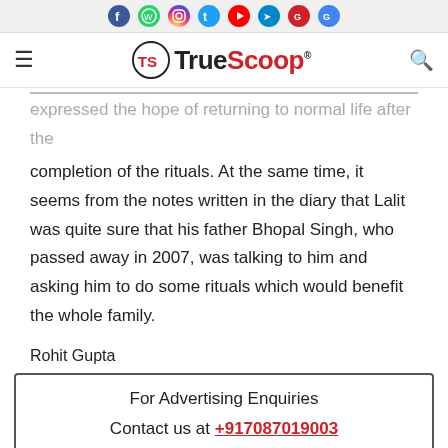TrueScoop
expressed the hope of returning to normal life after the completion of the rituals. At the same time, it seems from the notes written in the diary that Lalit was quite sure that his father Bhopal Singh, who passed away in 2007, was talking to him and asking him to do some rituals which would benefit the whole family.
Rohit Gupta
For Advertising Enquiries
Contact us at +917087019003